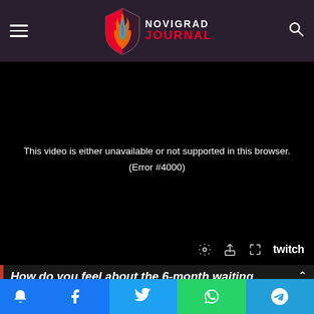[Figure (logo): Novigrad Journal logo with stylized flame/feather icon and text NOVIGRAD JOURNAL in red]
[Figure (screenshot): Twitch embedded video player showing error message: This video is either unavailable or not supported in this browser. (Error #4000). Bottom right shows gear, share, fullscreen icons and Twitch logo.]
How do you feel about the 6-month waiting period in between expansions?
[Figure (infographic): Social share bar with bell/notification, Facebook, Twitter, WhatsApp, and Telegram buttons]